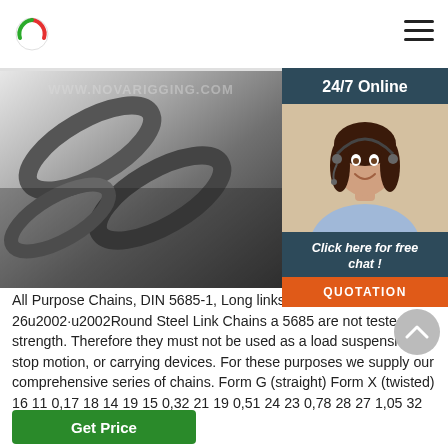[Figure (photo): Close-up photo of metallic industrial chain links, dark steel, with watermark text 'WWW.NOVARIGGING.COM']
[Figure (photo): 24/7 Online customer service panel with photo of smiling woman with headset, 'Click here for free chat!' and orange QUOTATION button]
All Purpose Chains, DIN 5685-1, Long links - Aud 2017-9-26u2002·u2002Round Steel Link Chains a 5685 are not tested for strength. Therefore they must not be used as a load suspension, stop motion, or carrying devices. For these purposes we supply our comprehensive series of chains. Form G (straight) Form X (twisted) 16 11 0,17 18 14 19 15 0,32 21 19 0,51 24 23 0,78 28 27 1,05 32 31 1,39 ...
[Figure (other): Green 'Get Price' button at bottom left]